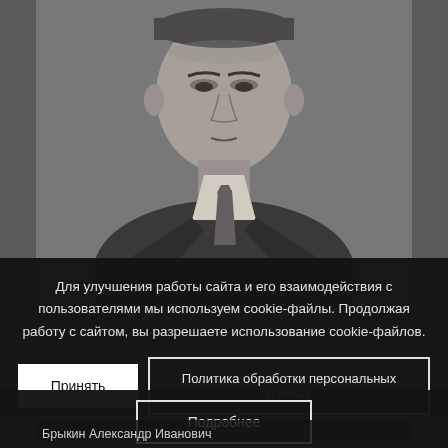[Figure (photo): Black and white portrait photo of an older man in a suit and tie, serious expression, cropped at chest level]
Для улучшения работы сайта и его взаимодействия с пользователями мы используем cookie-файлы. Продолжая работу с сайтом, вы разрешаете использование cookie-файлов.
Принять
Политика обработки персональных данных
Подробнее
Брыкин Александр Иванович